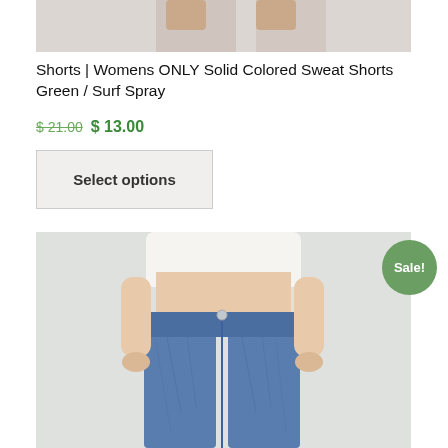[Figure (photo): Partial top section of a product photo showing a person's lower torso/legs area, cropped]
Shorts | Womens ONLY Solid Colored Sweat Shorts Green / Surf Spray
$ 21.00 $ 13.00
Select options
[Figure (photo): Woman wearing blue denim shorts with a white top, showing from waist to knees against a light grey background. Has a 'Sale!' badge overlaid in green circle.]